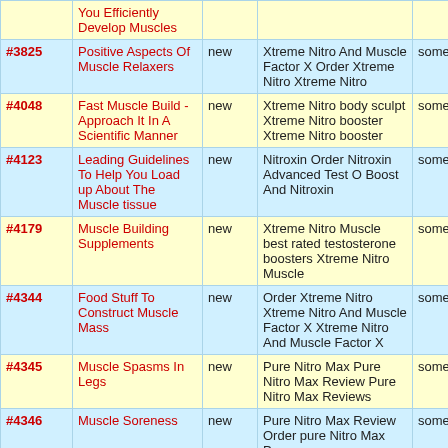| # | Title | Status | Keywords | Author |
| --- | --- | --- | --- | --- |
|  | You Efficiently Develop Muscles |  |  |  |
| #3825 | Positive Aspects Of Muscle Relaxers | new | Xtreme Nitro And Muscle Factor X Order Xtreme Nitro Xtreme Nitro | somebo |
| #4048 | Fast Muscle Build - Approach It In A Scientific Manner | new | Xtreme Nitro body sculpt Xtreme Nitro booster Xtreme Nitro booster | somebo |
| #4123 | Leading Guidelines To Help You Load up About The Muscle tissue | new | Nitroxin Order Nitroxin Advanced Test O Boost And Nitroxin | somebo |
| #4179 | Muscle Building Supplements | new | Xtreme Nitro Muscle best rated testosterone boosters Xtreme Nitro Muscle | somebo |
| #4344 | Food Stuff To Construct Muscle Mass | new | Order Xtreme Nitro Xtreme Nitro And Muscle Factor X Xtreme Nitro And Muscle Factor X | somebo |
| #4345 | Muscle Spasms In Legs | new | Pure Nitro Max Pure Nitro Max Review Pure Nitro Max Reviews | somebo |
| #4346 | Muscle Soreness | new | Pure Nitro Max Review Order pure Nitro Max Pure | somebo |